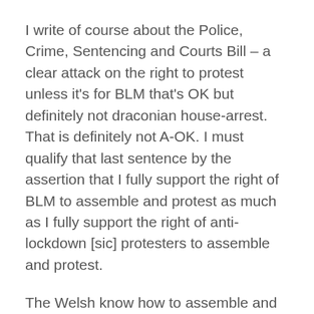I write of course about the Police, Crime, Sentencing and Courts Bill – a clear attack on the right to protest unless it's for BLM that's OK but definitely not draconian house-arrest. That is definitely not A-OK. I must qualify that last sentence by the assertion that I fully support the right of BLM to assemble and protest as much as I fully support the right of anti-lockdown [sic] protesters to assemble and protest.
The Welsh know how to assemble and protest. In 1740, while the industrialisation of Wales was still gathering momentum, a group of miners gathered together in Rhuddlan to protest against low pay. The military was sent in to disperse the groups of miners and violence erupted. In 1758 a similar protest by the quarrymen of Cilgwyn saw a mass march on the town of Caernarfon in an attempt to seize corn that was being held there prior to shipment abroad. This time two of the